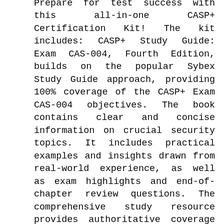Prepare for test success with this all-in-one CASP+ Certification Kit! The kit includes: CASP+ Study Guide: Exam CAS-004, Fourth Edition, builds on the popular Sybex Study Guide approach, providing 100% coverage of the CASP+ Exam CAS-004 objectives. The book contains clear and concise information on crucial security topics. It includes practical examples and insights drawn from real-world experience, as well as exam highlights and end-of-chapter review questions. The comprehensive study resource provides authoritative coverage of key exam topics, including; Security Architecture Security Operations Security Engineering and Cryptography Governance, Risk, and Compliance Because the exam focuses on practical applications of key security concepts, the book includes an appendix of additional